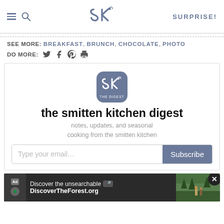SK logo header with hamburger, search, SURPRISE! nav
SEE MORE: BREAKFAST, BRUNCH, CHOCOLATE, PHOTO
DO MORE: [twitter] [facebook] [pinterest] [print]
[Figure (screenshot): Smitten Kitchen newsletter signup box with SK digest logo, title 'the smitten kitchen digest', subtitle 'notes, updates, and seasonal cooking from the smitten kitchen', email input field and Subscribe button]
[Figure (screenshot): Ad banner: Discover the unsearchable / DiscoverTheForest.org with forest photo and close button]